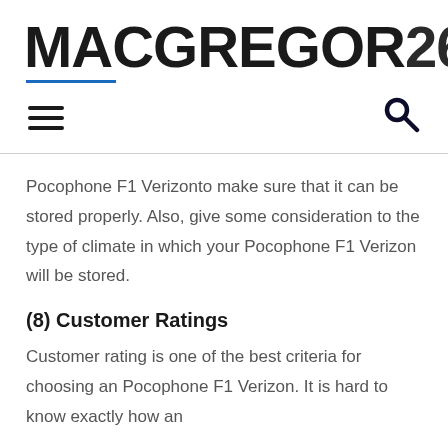MACGREGOR26
Pocophone F1 Verizonto make sure that it can be stored properly. Also, give some consideration to the type of climate in which your Pocophone F1 Verizon will be stored.
(8) Customer Ratings
Customer rating is one of the best criteria for choosing an Pocophone F1 Verizon. It is hard to know exactly how an